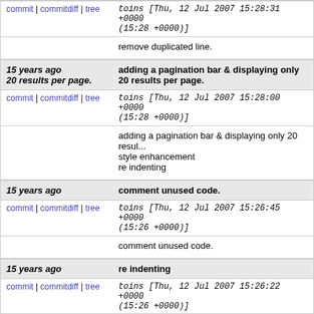commit | commitdiff | tree   toins [Thu, 12 Jul 2007 15:28:31 +0000 (15:28 +0000)]
remove duplicated line.
15 years ago   adding a pagination bar & displaying only 20 results per page.
commit | commitdiff | tree   toins [Thu, 12 Jul 2007 15:28:00 +0000 (15:28 +0000)]
adding a pagination bar & displaying only 20 results per page.
style enhancement
re indenting
15 years ago   comment unused code.
commit | commitdiff | tree   toins [Thu, 12 Jul 2007 15:26:45 +0000 (15:26 +0000)]
comment unused code.
15 years ago   re indenting
commit | commitdiff | tree   toins [Thu, 12 Jul 2007 15:26:22 +0000 (15:26 +0000)]
re indenting